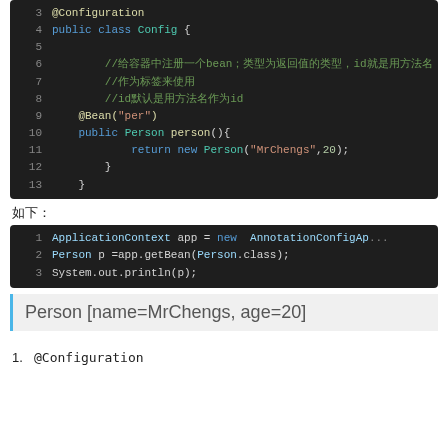[Figure (screenshot): Code block showing Java Spring configuration class with @Configuration annotation, @Bean annotation creating a Person with name MrChengs and age 20, lines 3-13]
如下：
[Figure (screenshot): Code block showing Java test code: ApplicationContext app = new AnnotationConfigAp..., Person p =app.getBean(Person.class);, System.out.println(p);, lines 1-3]
Person [name=MrChengs, age=20]
1. @Configuration